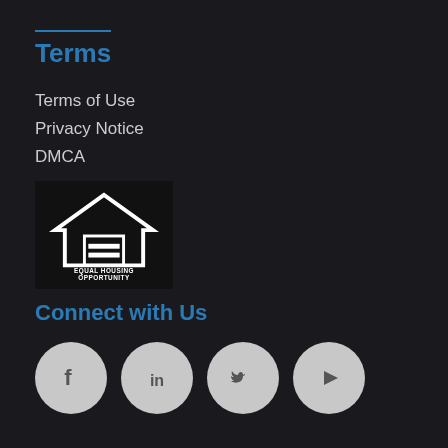Terms
Terms of Use
Privacy Notice
DMCA
[Figure (logo): Equal Housing Opportunity logo — white house icon with equal sign, text reads EQUAL HOUSING OPPORTUNITY on black background]
Connect with Us
[Figure (infographic): Four social media icons in light grey circles: Facebook (f), LinkedIn (in), Twitter (bird), YouTube (play button)]